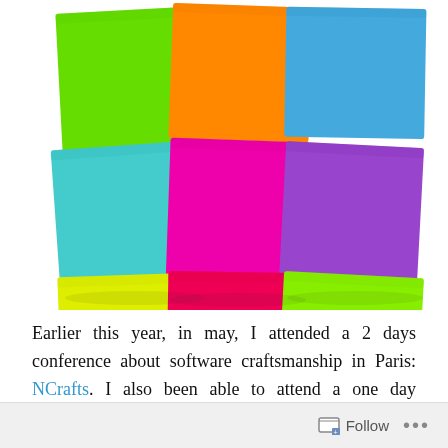[Figure (photo): Nine colorful sticky notes (green, orange, blue, teal, pink/magenta, purple, yellow, hot pink, lime green) arranged in three rows of three on a white background]
Earlier this year, in may, I attended a 2 days conference about software craftsmanship in Paris: NCrafts. I also been able to attend a one day workshop about EventStorming.
Follow ...